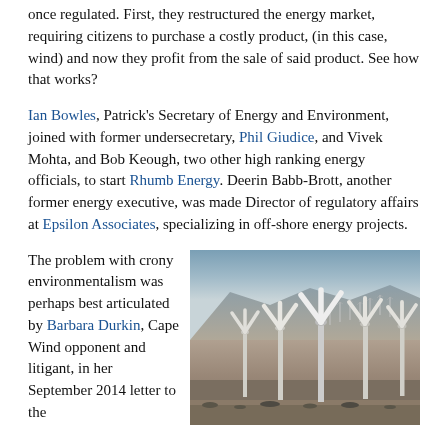once regulated. First, they restructured the energy market, requiring citizens to purchase a costly product, (in this case, wind) and now they profit from the sale of said product. See how that works?
Ian Bowles, Patrick's Secretary of Energy and Environment, joined with former undersecretary, Phil Giudice, and Vivek Mohta, and Bob Keough, two other high ranking energy officials, to start Rhumb Energy. Deerin Babb-Brott, another former energy executive, was made Director of regulatory affairs at Epsilon Associates, specializing in off-shore energy projects.
The problem with crony environmentalism was perhaps best articulated by Barbara Durkin, Cape Wind opponent and litigant, in her September 2014 letter to the
[Figure (photo): A large wind farm with many white wind turbines in a desert/arid landscape with mountains in the background.]